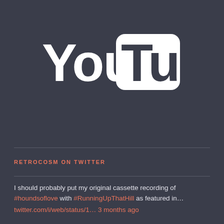[Figure (logo): YouTube logo in white on dark background — 'You' text followed by rounded rectangle containing 'Tube']
RETROCOSM ON TWITTER
I should probably put my original cassette recording of #houndsoflove with #RunningUpThatHill as featured in... twitter.com/i/web/status/1... 3 months ago